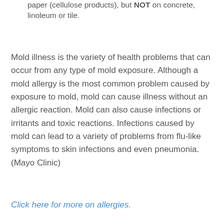paper (cellulose products), but NOT on concrete, linoleum or tile.
Mold illness is the variety of health problems that can occur from any type of mold exposure. Although a mold allergy is the most common problem caused by exposure to mold, mold can cause illness without an allergic reaction. Mold can also cause infections or irritants and toxic reactions. Infections caused by mold can lead to a variety of problems from flu-like symptoms to skin infections and even pneumonia. (Mayo Clinic)
Click here for more on allergies.